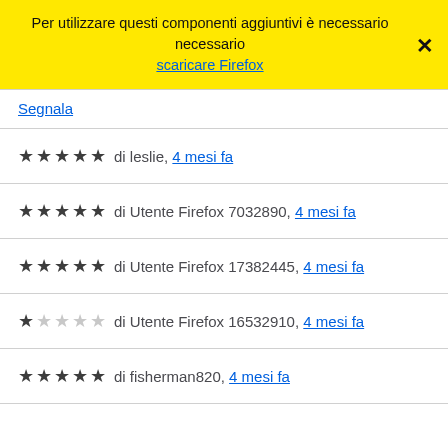Per utilizzare questi componenti aggiuntivi è necessario scaricare Firefox
Segnala
★★★★★ di leslie, 4 mesi fa
★★★★★ di Utente Firefox 7032890, 4 mesi fa
★★★★★ di Utente Firefox 17382445, 4 mesi fa
★☆☆☆☆ di Utente Firefox 16532910, 4 mesi fa
★★★★★ di fisherman820, 4 mesi fa